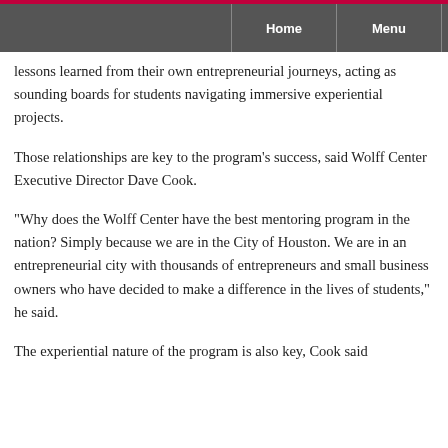Home  Menu
lessons learned from their own entrepreneurial journeys, acting as sounding boards for students navigating immersive experiential projects.
Those relationships are key to the program’s success, said Wolff Center Executive Director Dave Cook.
“Why does the Wolff Center have the best mentoring program in the nation? Simply because we are in the City of Houston. We are in an entrepreneurial city with thousands of entrepreneurs and small business owners who have decided to make a difference in the lives of students,” he said.
The experiential nature of the program is also key, Cook said